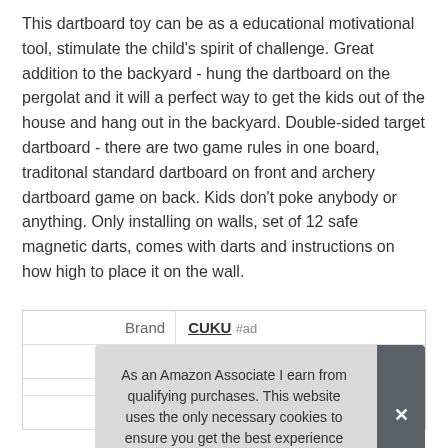This dartboard toy can be as a educational motivational tool, stimulate the child's spirit of challenge. Great addition to the backyard - hung the dartboard on the pergolat and it will a perfect way to get the kids out of the house and hang out in the backyard. Double-sided target dartboard - there are two game rules in one board, traditonal standard dartboard on front and archery dartboard game on back. Kids don't poke anybody or anything. Only installing on walls, set of 12 safe magnetic darts, comes with darts and instructions on how high to place it on the wall.
|  |  |
| --- | --- |
| Brand | CUKU #ad |
| Ma |  |
|  |  |
| Width | 0 Inches |
As an Amazon Associate I earn from qualifying purchases. This website uses the only necessary cookies to ensure you get the best experience on our website. More information